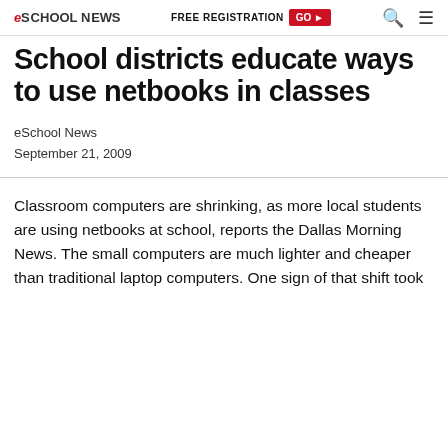eSchool News | FREE REGISTRATION GO ▶
School districts educate ways to use netbooks in classes
eSchool News
September 21, 2009
Classroom computers are shrinking, as more local students are using netbooks at school, reports the Dallas Morning News. The small computers are much lighter and cheaper than traditional laptop computers. One sign of that shift took